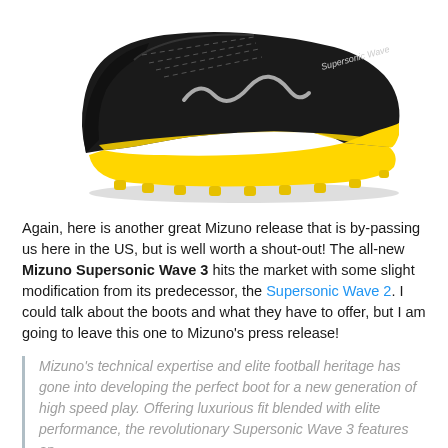[Figure (photo): A black and yellow Mizuno Supersonic Wave 3 football boot (soccer cleat) photographed on a white background, showing the side profile with yellow sole and studs.]
Again, here is another great Mizuno release that is by-passing us here in the US, but is well worth a shout-out! The all-new Mizuno Supersonic Wave 3 hits the market with some slight modification from its predecessor, the Supersonic Wave 2. I could talk about the boots and what they have to offer, but I am going to leave this one to Mizuno's press release!
Mizuno's technical expertise and elite football heritage has gone into developing the perfect boot for a new generation of high speed play. Offering luxurious fit blended with elite performance, the revolutionary Supersonic Wave 3 features an